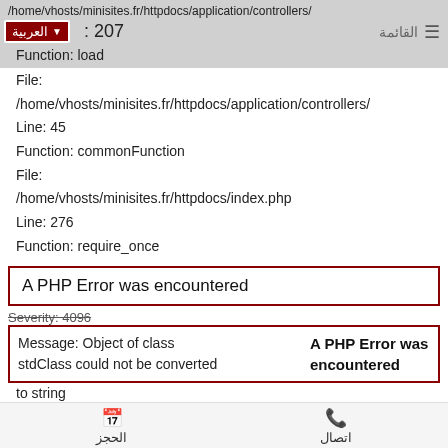/home/vhosts/minisites.fr/httpdocs/application/controllers/
: 207
Function: load
File:
/home/vhosts/minisites.fr/httpdocs/application/controllers/
Line: 45
Function: commonFunction
File:
/home/vhosts/minisites.fr/httpdocs/index.php
Line: 276
Function: require_once
A PHP Error was encountered
Severity: 4096
Message: Object of class stdClass could not be converted to string
A PHP Error was encountered
to string
Filename: inc/service_item.php
الحجز   اتصال